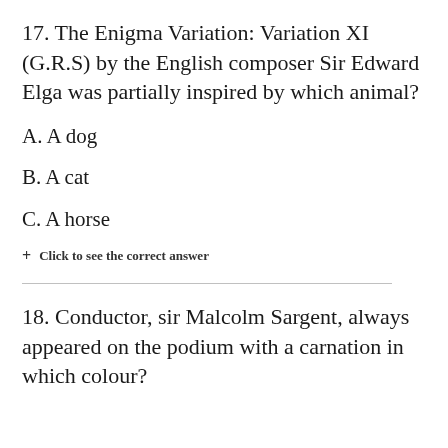17. The Enigma Variation: Variation XI (G.R.S) by the English composer Sir Edward Elga was partially inspired by which animal?
A. A dog
B. A cat
C. A horse
+ Click to see the correct answer
18. Conductor, sir Malcolm Sargent, always appeared on the podium with a carnation in which colour?